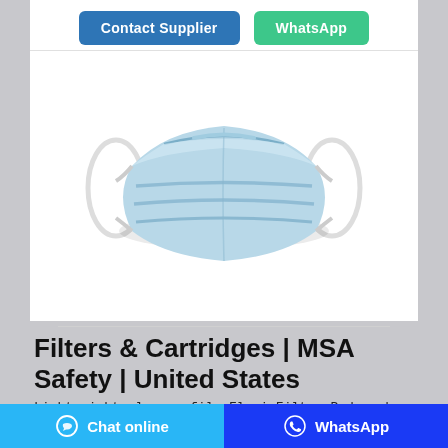[Figure (other): Two buttons: 'Contact Supplier' (blue) and 'WhatsApp' (green)]
[Figure (photo): Product photo of a light blue disposable surgical/face mask with ear loops, shown on a white background]
Filters & Cartridges | MSA Safety | United States
Lightweight, low-profile Flexi-Filter Pads make it easy for wearers to work for hours without fatigue or overheating. The swept-back design increases user field of vision, while low-breathing resistance ensures hours of comfort. Convenient finger tabs ensure easy installation and removal.
[Figure (other): Bottom bar with 'Chat online' button (light blue) and 'WhatsApp' button (dark blue)]